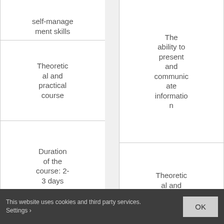| self-management skills | The ability to present and communicate information |
| Theoretical and practical course | Theoretical and practical course |
| Duration of the course: 2-3 days | Duration of the course: 2-3 days |
| FIND OUT MORE | Duration of the course: 2-3 days |
This website uses cookies and third party services. Settings
OK